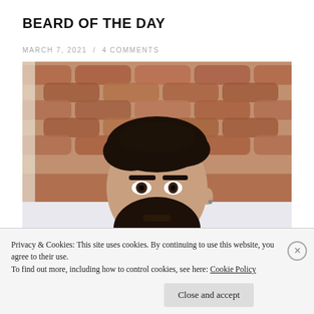BEARD OF THE DAY
MARCH 7, 2021  /  4 COMMENTS
[Figure (photo): A bearded man with dark curly hair looking at the camera, resting his chin on a white surface (possibly a bathtub edge), with terracotta roof tiles visible in the background.]
Privacy & Cookies: This site uses cookies. By continuing to use this website, you agree to their use.
To find out more, including how to control cookies, see here: Cookie Policy
Close and accept